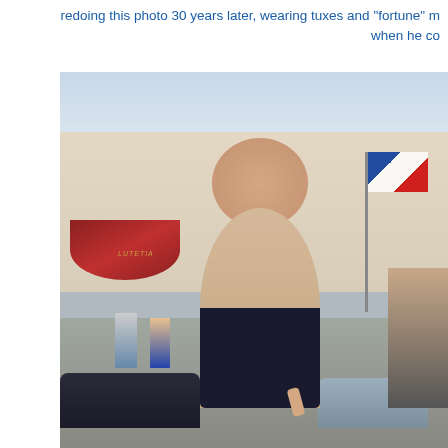redoing this photo 30 years later, wearing tuxes and "fortune" m... when he co...
[Figure (photo): A middle-aged man in a dark t-shirt standing on a street in front of a grand Haussmann-style hotel (Hotel Lutetia, Paris) with a red striped awning. The man appears to be pointing upward with one finger. Other pedestrians and cars are visible in the background, along with flags on a pole.]